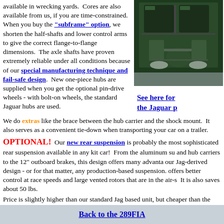available in wrecking yards.  Cores are also available from us, if you are time-constrained.  When you buy the "subframe" option, we shorten the half-shafts and lower control arms to give the correct flange-to-flange dimensions.  The axle shafts have proven extremely reliable under all conditions because of our special manufacturing technique and fail-safe design.  New one-piece hubs are supplied when you get the optional pin-drive wheels - with bolt-on wheels, the standard Jaguar hubs are used.
[Figure (photo): Photo of Jaguar rear suspension component, dark green metal parts]
We do extras like the brace between the hub carrier and the shock mount.  It also serves as a convenient tie-down when transporting your car on a trailer.
See here for the Jaguar p
OPTIONAL!  Our new rear suspension is probably the most sophisticated rear suspension available in any kit car!  From the aluminum su and hub carriers to the 12" outboard brakes, this design offers many advanta our Jag-derived design - or for that matter, any production-based suspension. offers better control at race speeds and large vented rotors that are in the air-s  It is also saves about 50 lbs.
Price is slightly higher than our standard Jag based unit, but cheaper than the with optional vented brakes.
Back to the 289FIA